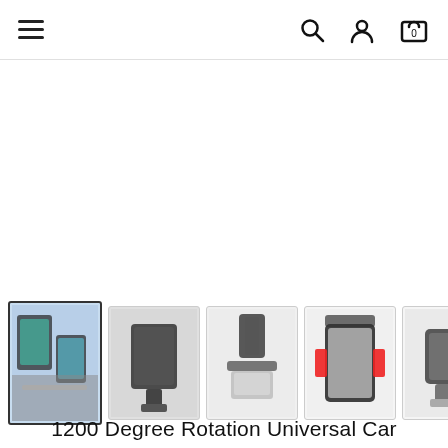Navigation bar with hamburger menu, search, account, and cart icons
[Figure (photo): Thumbnail strip showing 6 product photos of a 1200 Degree Rotation Universal Car phone mount from different angles]
1200 Degree Rotation Universal Car